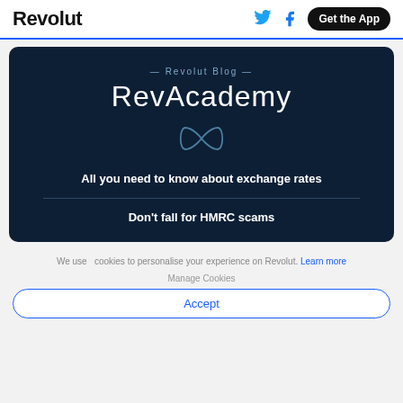Revolut
[Figure (screenshot): Revolut Blog dark card with RevAcademy title, infinity symbol, article titles: 'All you need to know about exchange rates' and 'Don't fall for HMRC scams']
We use cookies to personalise your experience on Revolut. Learn more
Manage Cookies
Accept